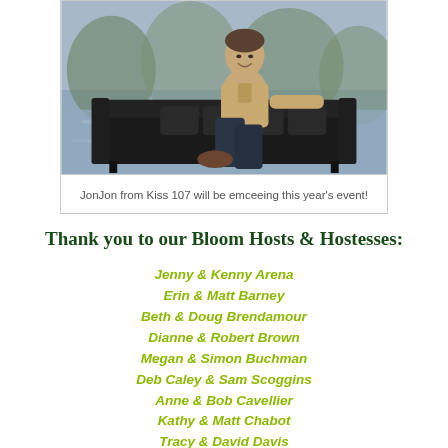[Figure (photo): Man sitting on a black leather tufted sofa outdoors near water, smiling, wearing a tan/khaki shirt and dark jeans with brown boots]
JonJon from Kiss 107 will be emceeing this year's event!
Thank you to our Bloom Hosts & Hostesses:
Jenny & Kenny Arena
Erin & Matt Barney
Beth & Doug Brendamour
Dianne & Robert Brown
Megan & Simon Buchman
Deb Caley & Sam Scoggins
Anne & Bob Cavellier
Kathy & Matt Chabot
Tracy & David Davis
Susie & Steve Denison